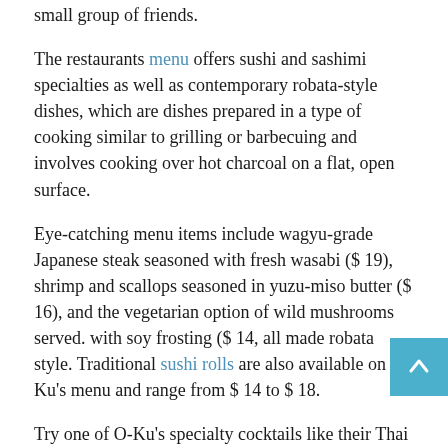small group of friends.
The restaurants menu offers sushi and sashimi specialties as well as contemporary robata-style dishes, which are dishes prepared in a type of cooking similar to grilling or barbecuing and involves cooking over hot charcoal on a flat, open surface.
Eye-catching menu items include wagyu-grade Japanese steak seasoned with fresh wasabi ($ 19), shrimp and scallops seasoned in yuzu-miso butter ($ 16), and the vegetarian option of wild mushrooms served. with soy frosting ($ 14, all made robata style. Traditional sushi rolls are also available on O-Ku’s menu and range from $ 14 to $ 18.
Try one of O-Ku’s specialty cocktails like their Thai shobo served hot with rum, mocha pumpkin spice and a coconut whisk ($ 13) to accompany your meal, or go for a beer Japanese ($ 6- $ 10), a soft drink like homemade Thai tea ($ 6) or a refreshing blueberry and cucumber lemonade ($ 7).
O-Ku’s delists fai...